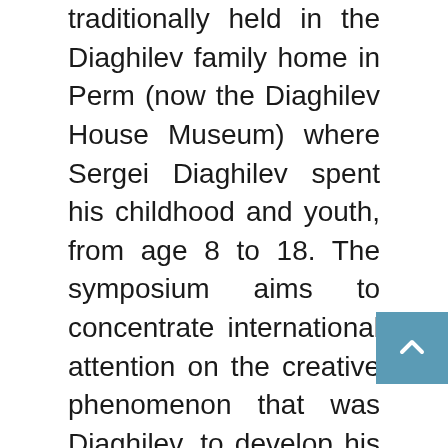traditionally held in the Diaghilev family home in Perm (now the Diaghilev House Museum) where Sergei Diaghilev spent his childhood and youth, from age 8 to 18. The symposium aims to concentrate international attention on the creative phenomenon that was Diaghilev, to develop his traditions in contemporary culture, and to encourage work by Russian and international art experts, cultural experts, philosophers, and historians whose research is directed towards the comprehensive study of a unique phenomenon of twentieth century culture – Sergei Diaghilev's Ballets Russes.
The opening of Diaghilev Readings 2013 will be marked by a performance of the eighteenth century Italian composer